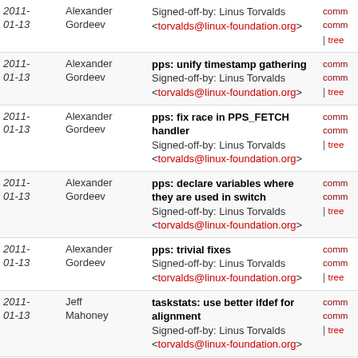| Date | Author | Message | Links |
| --- | --- | --- | --- |
| 2011-01-13 | Alexander Gordeev | Signed-off-by: Linus Torvalds <torvalds@linux-foundation.org> | comm comm | tree |
| 2011-01-13 | Alexander Gordeev | pps: unify timestamp gathering
Signed-off-by: Linus Torvalds <torvalds@linux-foundation.org> | comm comm | tree |
| 2011-01-13 | Alexander Gordeev | pps: fix race in PPS_FETCH handler
Signed-off-by: Linus Torvalds <torvalds@linux-foundation.org> | comm comm | tree |
| 2011-01-13 | Alexander Gordeev | pps: declare variables where they are used in switch
Signed-off-by: Linus Torvalds <torvalds@linux-foundation.org> | comm comm | tree |
| 2011-01-13 | Alexander Gordeev | pps: trivial fixes
Signed-off-by: Linus Torvalds <torvalds@linux-foundation.org> | comm comm | tree |
| 2011-01-13 | Jeff Mahoney | taskstats: use better ifdef for alignment
Signed-off-by: Linus Torvalds <torvalds@linux-foundation.org> | comm comm | tree |
| 2011-01-13 | Matti J. Aaltonen | NFC: Driver for NXP Semiconductors PN544 NFC chip.
Signed-off-by: Linus Torvalds <torvalds@linux-foundation.org> | comm comm | tree |
| 2011-01-13 | Pavel Emelyanov | user_ns: improve the user_ns on-the-slab packaging
Signed-off-by: Linus Torvalds <torvalds@linux-foundation.org> | comm comm | tree |
| 2011-01-13 | Jovi Zhang | sysctl: remove obsolete comments
Signed-off-by: Linus Torvalds <torvalds@linux-foundation.org> | comm comm | tree |